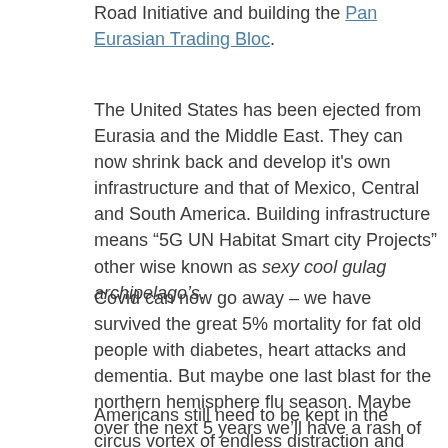Road Initiative and building the Pan Eurasian Trading Bloc.
The United States has been ejected from Eurasia and the Middle East. They can now shrink back and develop it's own infrastructure and that of Mexico, Central and South America. Building infrastructure means “5G UN Habitat Smart city Projects” other wise known as sexy cool gulag archipelago’s.
Covid can now go away – we have survived the great 5% mortality for fat old people with diabetes, heart attacks and dementia. But maybe one last blast for the northern hemisphere flu season. Maybe over the next 5 years we’ll have a rash of Mad cow type CNS diseases all of a sudden. But essentially it’s over. Sweden and Denmark have completely backed off all restrictions – they got the memo from Kissinger & Associates early.
Americans still need to be kept in the circus vortex of endless distraction and hope that the great Trump will